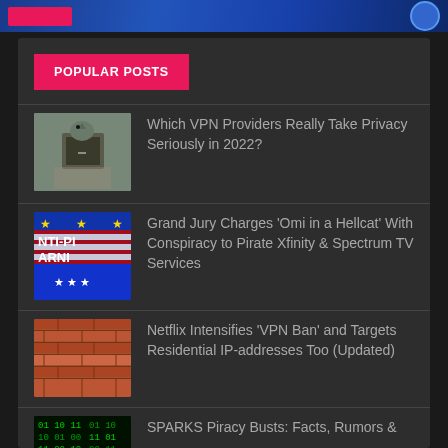[Figure (screenshot): Top banner with blue gradient background and pink element]
POPULAR POSTS
Which VPN Providers Really Take Privacy Seriously in 2022?
Grand Jury Charges 'Omi in a Hellcat' With Conspiracy to Pirate Xfinity & Spectrum TV Services
Netflix Intensifies 'VPN Ban' and Targets Residential IP-addresses Too (Updated)
SPARKS Piracy Busts: Facts, Rumors &